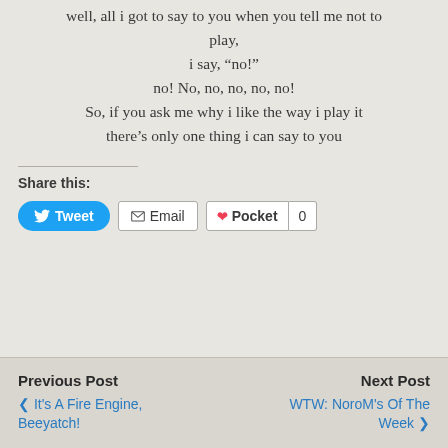well, all i got to say to you when you tell me not to play,
i say, “no!”
no! No, no, no, no, no!
So, if you ask me why i like the way i play it
there’s only one thing i can say to you
Share this:
Tweet | Email | Pocket | 0
Previous Post: ❮ It’s A Fire Engine, Beeyatch! | Next Post: WTW: NoroM’s Of The Week ❯